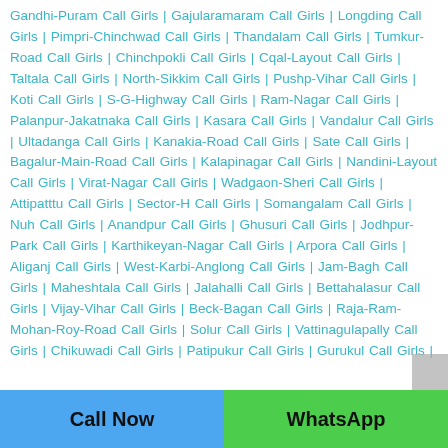Gandhi-Puram Call Girls | Gajularamaram Call Girls | Longding Call Girls | Pimpri-Chinchwad Call Girls | Thandalam Call Girls | Tumkur-Road Call Girls | Chinchpokli Call Girls | Cqal-Layout Call Girls | Taltala Call Girls | North-Sikkim Call Girls | Pushp-Vihar Call Girls | Koti Call Girls | S-G-Highway Call Girls | Ram-Nagar Call Girls | Palanpur-Jakatnaka Call Girls | Kasara Call Girls | Vandalur Call Girls | Ultadanga Call Girls | Kanakia-Road Call Girls | Sate Call Girls | Bagalur-Main-Road Call Girls | Kalapinagar Call Girls | Nandini-Layout Call Girls | Virat-Nagar Call Girls | Wadgaon-Sheri Call Girls | Attipatttu Call Girls | Sector-H Call Girls | Somangalam Call Girls | Nuh Call Girls | Anandpur Call Girls | Ghusuri Call Girls | Jodhpur-Park Call Girls | Karthikeyan-Nagar Call Girls | Arpora Call Girls | Aliganj Call Girls | West-Karbi-Anglong Call Girls | Jam-Bagh Call Girls | Maheshtala Call Girls | Jalahalli Call Girls | Bettahalasur Call Girls | Vijay-Vihar Call Girls | Beck-Bagan Call Girls | Raja-Ram-Mohan-Roy-Road Call Girls | Solur Call Girls | Vattinagulapally Call Girls | Chikuwadi Call Girls | Patipukur Call Girls | Gurukul Call Girls | ...
Call Now | WhatsApp